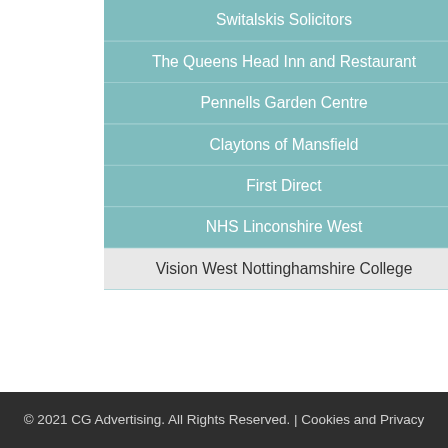Switalskis Solicitors
The Queens Head Inn and Restaurant
Pennells Garden Centre
Claytons of Mansfield
First Direct
NHS Linconshire West
Vision West Nottinghamshire College
© 2021 CG Advertising. All Rights Reserved. | Cookies and Privacy